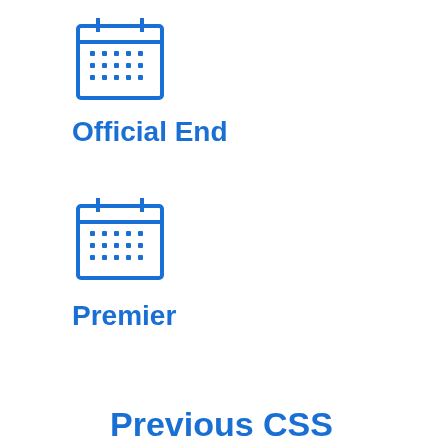[Figure (illustration): Blue calendar icon at top]
Official End
[Figure (illustration): Blue calendar icon in middle]
Premier
Previous CSS